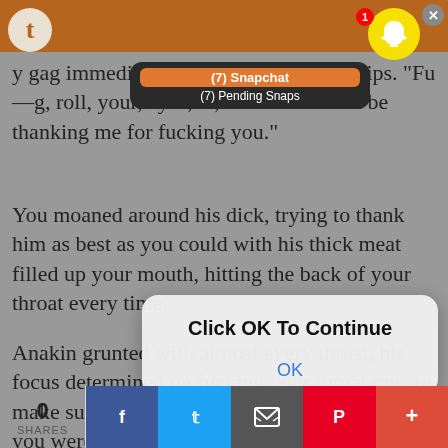[Figure (screenshot): Screenshot of a webpage with adult fan fiction text, overlaid by a Snapchat notification bar showing '(7) Snapchat / (7) Pending Snaps' and a modal dialog saying 'Click OK To Continue' with an OK button. Bottom bar shows share counts and social media buttons.]
y gag immediately tumbling from your lips. "Fu__ing, roll, your, eyes, at, me. You should be thanking me for fucking you."
You moaned around his dick, trying to thank him as best as you could with his thick meat filled up your mouth, hitting the back of your throat every time.
Anakin grunted with almost every thrust, his focus determined on fucking your throat raw, to make sure you knew who was in charge, that you were to never disobey his orders again.
"I don't think that thank you was loud enough, " say
0 SHARES